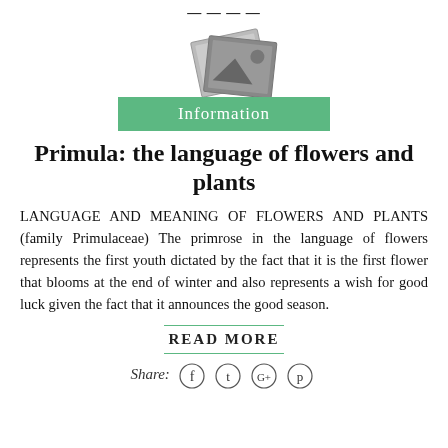…
[Figure (illustration): Stacked photo/image placeholder icons above a green 'Information' label banner]
Primula: the language of flowers and plants
LANGUAGE AND MEANING OF FLOWERS AND PLANTS (family Primulaceae) The primrose in the language of flowers represents the first youth dictated by the fact that it is the first flower that blooms at the end of winter and also represents a wish for good luck given the fact that it announces the good season.
READ MORE
Share: f t G+ p